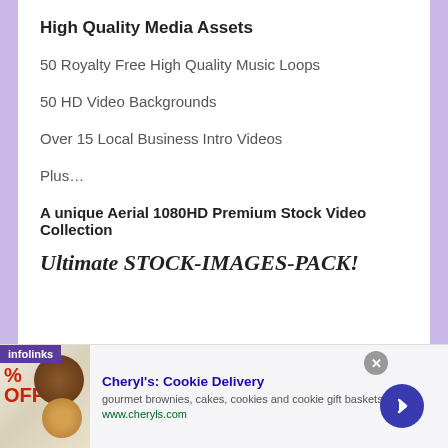High Quality Media Assets
50 Royalty Free High Quality Music Loops
50 HD Video Backgrounds
Over 15 Local Business Intro Videos
Plus…
A unique Aerial 1080HD Premium Stock Video Collection
Ultimate STOCK-IMAGES-PACK!
[Figure (screenshot): Advertisement banner for Cheryl's Cookie Delivery showing cookies and brownies image with text: gourmet brownies, cakes, cookies and cookie gift baskets, www.cheryls.com. Has infolinks label, close button, and navigation arrow.]